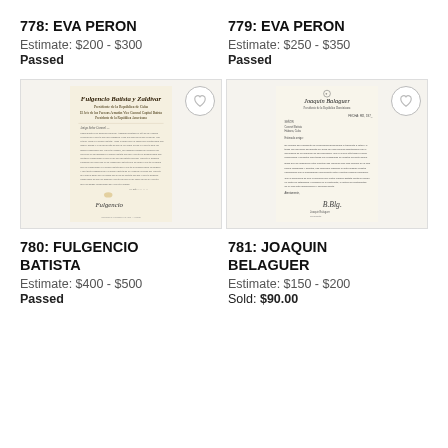778: EVA PERON
Estimate: $200 - $300
Passed
779: EVA PERON
Estimate: $250 - $350
Passed
[Figure (photo): Handwritten document signed by Fulgencio Batista, with ornate script header and cursive signature at bottom]
[Figure (photo): Typed letter on official letterhead signed by Joaquin Belaguer, with cursive signature at bottom]
780: FULGENCIO BATISTA
Estimate: $400 - $500
Passed
781: JOAQUIN BELAGUER
Estimate: $150 - $200
Sold: $90.00